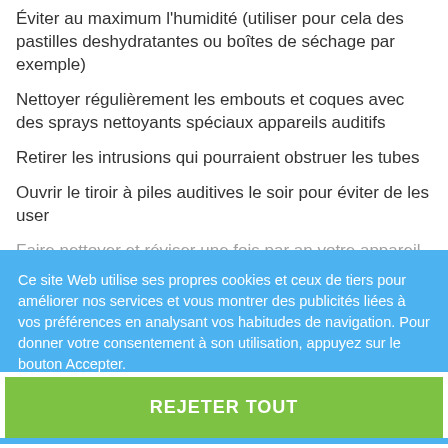Éviter au maximum l'humidité (utiliser pour cela des pastilles deshydratantes ou boîtes de séchage par exemple)
Nettoyer régulièrement les embouts et coques avec des sprays nettoyants spéciaux appareils auditifs
Retirer les intrusions qui pourraient obstruer les tubes
Ouvrir le tiroir à piles auditives le soir pour éviter de les user
Faire nettoyer et réviser une fois par an votre appareil auditif auprès de votre audioprothésiste.
Ce site Web utilise ses propres cookies et ceux de tiers pour améliorer nos services et vous montrer des publicités liées à vos préférences en analysant vos habitudes de navigation. Pour donner votre consentement à son utilisation, appuyez sur le bouton Accepter.
Plus d'informations   Personnaliser les cookies
REJETER TOUT
J'ACCEPTE